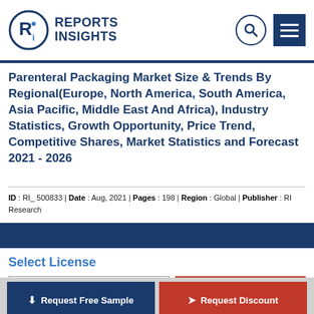Reports Insights
Parenteral Packaging Market Size & Trends By Regional(Europe, North America, South America, Asia Pacific, Middle East And Africa), Industry Statistics, Growth Opportunity, Price Trend, Competitive Shares, Market Statistics and Forecast 2021 - 2026
ID : RI_ 500833 | Date : Aug, 2021 | Pages : 198 | Region : Global | Publisher : RI Research
Select License
Single User : $3680
Buy Now
Request Free Sample
Request Discount